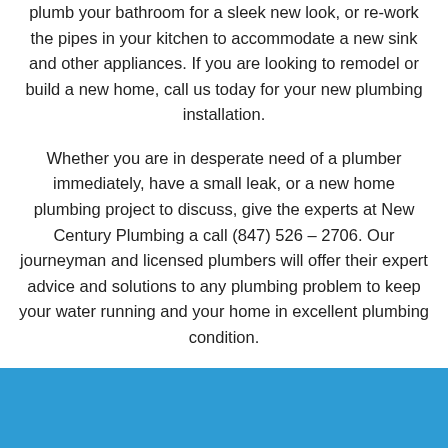plumb your bathroom for a sleek new look, or re-work the pipes in your kitchen to accommodate a new sink and other appliances. If you are looking to remodel or build a new home, call us today for your new plumbing installation.
Whether you are in desperate need of a plumber immediately, have a small leak, or a new home plumbing project to discuss, give the experts at New Century Plumbing a call (847) 526 – 2706. Our journeyman and licensed plumbers will offer their expert advice and solutions to any plumbing problem to keep your water running and your home in excellent plumbing condition.